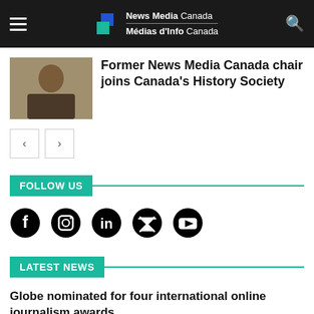News Media Canada / Médias d'Info Canada
Former News Media Canada chair joins Canada's History Society
FOLLOW US
[Figure (illustration): Social media icons: Facebook, Instagram, LinkedIn, Twitter/X, YouTube]
LATEST NEWS
Globe nominated for four international online journalism awards